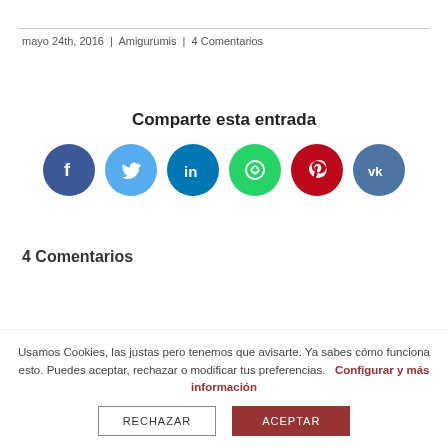mayo 24th, 2016  |  Amigurumis  |  4 Comentarios
Comparte esta entrada
[Figure (infographic): Six social media sharing icons in circles: Facebook (dark blue), Twitter (light blue), LinkedIn (teal blue), WhatsApp (green), Pinterest (red), VK (slate blue)]
4 Comentarios
Usamos Cookies, las justas pero tenemos que avisarte. Ya sabes cómo funciona esto. Puedes aceptar, rechazar o modificar tus preferencias.    Configurar y más información
RECHAZAR
ACEPTAR